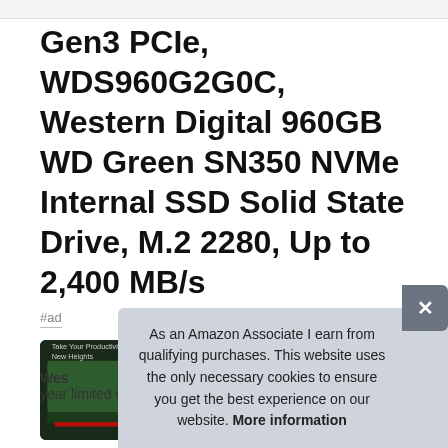Gen3 PCIe, WDS960G2G0C, Western Digital 960GB WD Green SN350 NVMe Internal SSD Solid State Drive, M.2 2280, Up to 2,400 MB/s
#ad
[Figure (photo): Row of four product images showing WD Green SN350 NVMe SSD from various angles and marketing materials]
Wes
year limited warranty. Fast NVMe performance for daily
As an Amazon Associate I earn from qualifying purchases. This website uses the only necessary cookies to ensure you get the best experience on our website. More information